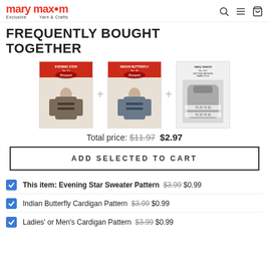mary maxim Exclusive Yarn & Crafts
FREQUENTLY BOUGHT TOGETHER
[Figure (photo): Three product images side by side with plus icons between them: Evening Star Sweater pattern, Indian Butterfly Cardigan pattern, and Ladies'/Men's Cardigan pattern knitting booklets.]
Total price: $11.97 $2.97
ADD SELECTED TO CART
This item: Evening Star Sweater Pattern $3.99 $0.99
Indian Butterfly Cardigan Pattern $3.99 $0.99
Ladies' or Men's Cardigan Pattern $3.99 $0.99